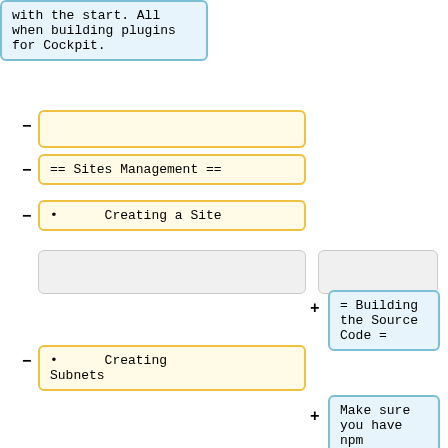with the start. All when building plugins for Cockpit.
== Sites Management ==
• Creating a Site
= Building the Source Code =
• Creating Subnets
Make sure you have npm available (usually from your distribution package). These commands check out the source and build it